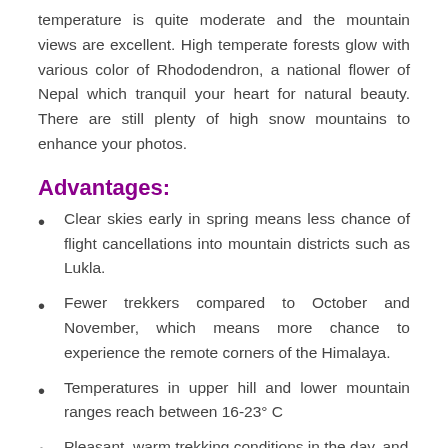temperature is quite moderate and the mountain views are excellent. High temperate forests glow with various color of Rhododendron, a national flower of Nepal which tranquil your heart for natural beauty. There are still plenty of high snow mountains to enhance your photos.
Advantages:
Clear skies early in spring means less chance of flight cancellations into mountain districts such as Lukla.
Fewer trekkers compared to October and November, which means more chance to experience the remote corners of the Himalaya.
Temperatures in upper hill and lower mountain ranges reach between 16-23° C
Pleasant, warm trekking conditions in the day, and